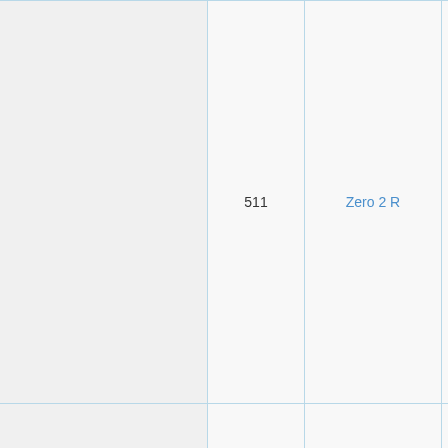|  | 511 | Zero 2 R | description |
| --- | --- | --- | --- |
|  | 511 | Zero 2 R | towards Cueball 5 his sword and Me The bones are cle joined together, th eye sockets almos protruding from th has its arms held |
|  |  |  |  |